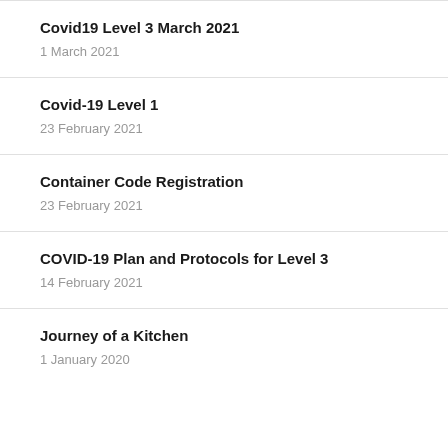Covid19 Level 3 March 2021
1 March 2021
Covid-19 Level 1
23 February 2021
Container Code Registration
23 February 2021
COVID-19 Plan and Protocols for Level 3
14 February 2021
Journey of a Kitchen
1 January 2020